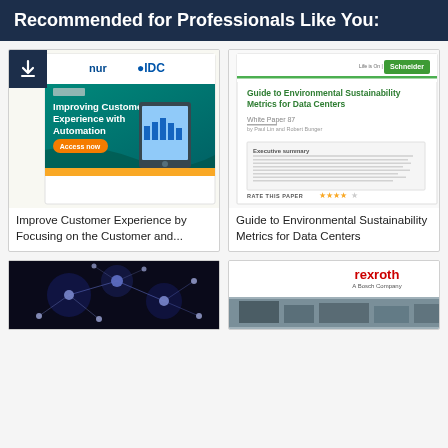Recommended for Professionals Like You:
[Figure (illustration): Card 1: Improve Customer Experience by Focusing on the Customer and... - IDC report cover with tablet graphic and 'Access now' button]
Improve Customer Experience by Focusing on the Customer and...
[Figure (illustration): Card 2: Guide to Environmental Sustainability Metrics for Data Centers - Schneider Electric white paper cover]
Guide to Environmental Sustainability Metrics for Data Centers
[Figure (illustration): Card 3: Network/connectivity image with blue glowing nodes]
[Figure (illustration): Card 4: Rexroth (Bosch Company) - industrial image]